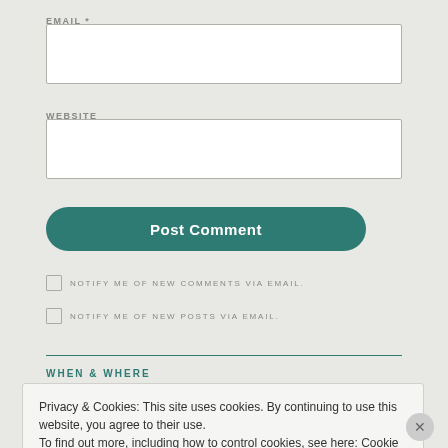EMAIL *
WEBSITE
Post Comment
NOTIFY ME OF NEW COMMENTS VIA EMAIL.
NOTIFY ME OF NEW POSTS VIA EMAIL.
WHEN & WHERE
Privacy & Cookies: This site uses cookies. By continuing to use this website, you agree to their use.
To find out more, including how to control cookies, see here: Cookie Policy
Close and accept